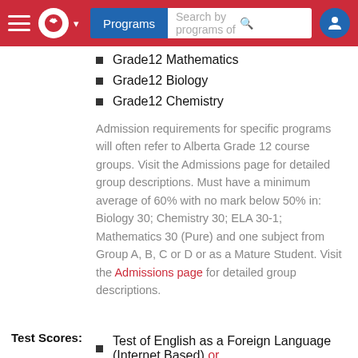Programs | Search by programs of
Grade12 Mathematics
Grade12 Biology
Grade12 Chemistry
Admission requirements for specific programs will often refer to Alberta Grade 12 course groups. Visit the Admissions page for detailed group descriptions. Must have a minimum average of 60% with no mark below 50% in: Biology 30; Chemistry 30; ELA 30-1; Mathematics 30 (Pure) and one subject from Group A, B, C or D or as a Mature Student. Visit the Admissions page for detailed group descriptions.
Test Scores:
Test of English as a Foreign Language (Internet Based) or